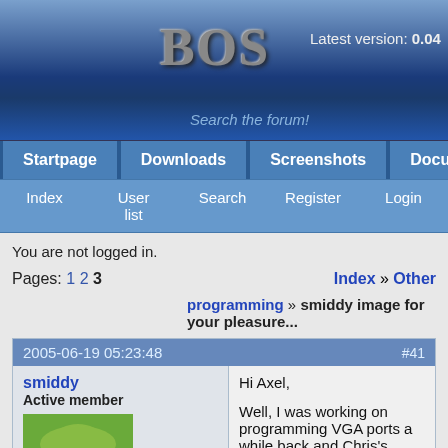[Figure (logo): BOS logo with metallic 3D text on blue gradient background, showing 'Latest version: 0.04' and 'Search the forum!']
Startpage | Downloads | Screenshots | Docume...
Index | User list | Search | Register | Login
You are not logged in.
Pages: 1 2 3    Index » Other
programming » smiddy image for your pleasure...
2005-06-19 05:23:48    #41
smiddy
Active member
Registered: 2005-02-15
Hi Axel,

Well, I was working on programming VGA ports a while back and Chris's